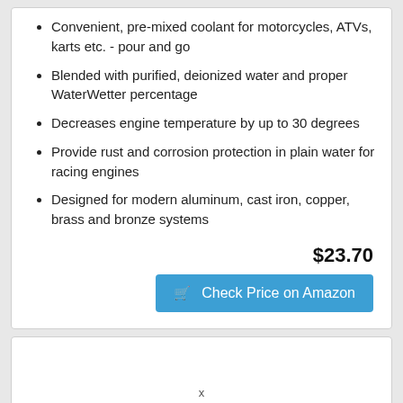Convenient, pre-mixed coolant for motorcycles, ATVs, karts etc. - pour and go
Blended with purified, deionized water and proper WaterWetter percentage
Decreases engine temperature by up to 30 degrees
Provide rust and corrosion protection in plain water for racing engines
Designed for modern aluminum, cast iron, copper, brass and bronze systems
$23.70
Check Price on Amazon